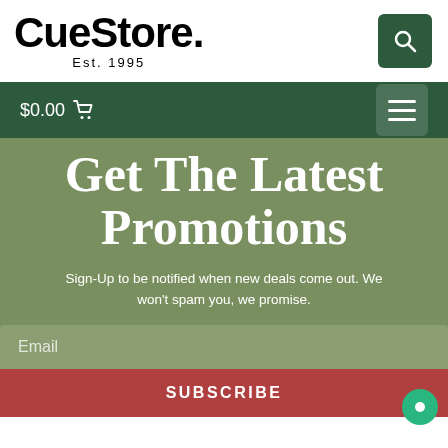CueStore. Est. 1995
$0.00
Get The Latest Promotions
Sign-Up to be notified when new deals come out. We won't spam you, we promise.
Email
SUBSCRIBE